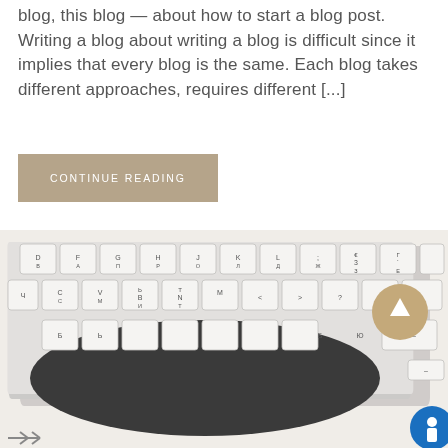blog, this blog — about how to start a blog post. Writing a blog about writing a blog is difficult since it implies that every blog is the same. Each blog takes different approaches, requires different [...]
CONTINUE READING
[Figure (photo): Close-up photograph of an Apple keyboard with Cyrillic and Latin key labels, partially obscured by a dark circular object (trackpad or similar), with a coffee cup visible in the top right background.]